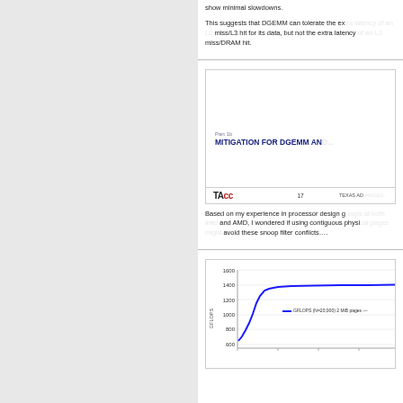show minimal slowdowns.
This suggests that DGEMM can tolerate the extra latency of an L2 miss/L3 hit for its data, but not the extra latency of an L2 miss/DRAM hit.
[Figure (other): Slide thumbnail showing Part 1b heading: MITIGATION FOR DGEMM AN... with TACC logo, page number 17, and TEXAS AD... text]
Based on my experience in processor design groups at both Intel and AMD, I wondered if using contiguous physical pages might avoid these snoop filter conflicts....
[Figure (continuous-plot): Line chart showing GFLOPS vs matrix size (N=20,000) with 2 MiB pages, y-axis from 600 to 1600 GFLOPS]